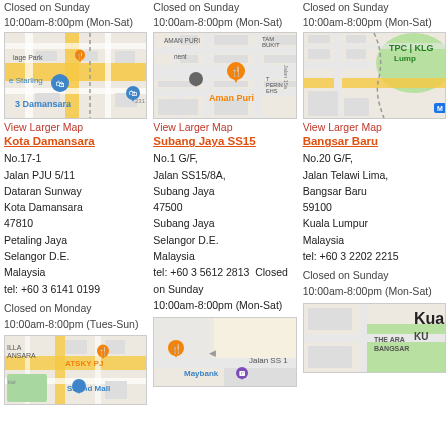Closed on Sunday
10:00am-8:00pm (Mon-Sat)
[Figure (map): Google Maps view showing 3 Damansara area, Kota Damansara]
View Larger Map
Kota Damansara
No.17-1
Jalan PJU 5/11
Dataran Sunway
Kota Damansara
47810
Petaling Jaya
Selangor D.E.
Malaysia
tel: +60 3 6141 0199
Closed on Monday
10:00am-8:00pm (Tues-Sun)
[Figure (map): Google Maps view showing Strand Mall, ATSKY PJ area]
Closed on Sunday
10:00am-8:00pm (Mon-Sat)
[Figure (map): Google Maps view showing Aman Puri area, Subang Jaya]
View Larger Map
Subang Jaya SS15
No.1 G/F,
Jalan SS15/8A,
Subang Jaya
47500
Subang Jaya
Selangor D.E.
Malaysia
tel: +60 3 5612 2813  Closed on Sunday
10:00am-8:00pm (Mon-Sat)
[Figure (map): Google Maps view showing Maybank, Jalan SS 1 area]
Closed on Sunday
10:00am-8:00pm (Mon-Sat)
[Figure (map): Google Maps view showing TPC KL, Kuala Lumpur area]
View Larger Map
Bangsar Baru
No.20 G/F,
Jalan Telawi Lima,
Bangsar Baru
59100
Kuala Lumpur
Malaysia
tel: +60 3 2202 2215
Closed on Sunday
10:00am-8:00pm (Mon-Sat)
[Figure (map): Google Maps view showing The Ara Bangsar, Kuala Lumpur area]